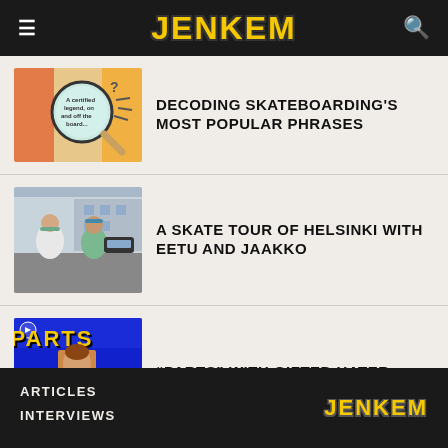JENKEM
[Figure (illustration): Illustrated thumbnail showing a magnifying glass with text 'A certified legend, on and off the board...' with question marks and dashes, colorful background]
DECODING SKATEBOARDING'S MOST POPULAR PHRASES
[Figure (photo): Photo of two young men standing outside a building, one in a white shirt and one in a green shirt, both wearing caps]
A SKATE TOUR OF HELSINKI WITH EETU AND JAAKKO
[Figure (screenshot): Blue retro-style video title card reading 'PARTS with GIFTED HATER' with a headshot of a young person with curly hair, play button icon in upper left]
“PARTS” WITH GIFTED HATER
ARTICLES  INTERVIEWS  JENKEM